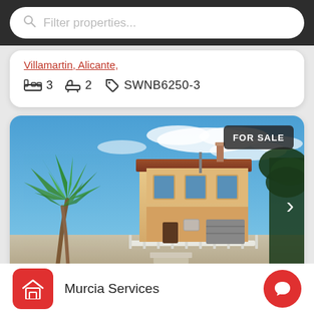Filter properties...
Villamartin, Alicante,
3  2  SWNB6250-3
[Figure (photo): Exterior photo of a Spanish villa for sale with palm trees on left, beige facade with terracotta roof, blue sky with white clouds, and dark green trees on right. A 'FOR SALE' badge appears in the upper right corner.]
Murcia Services